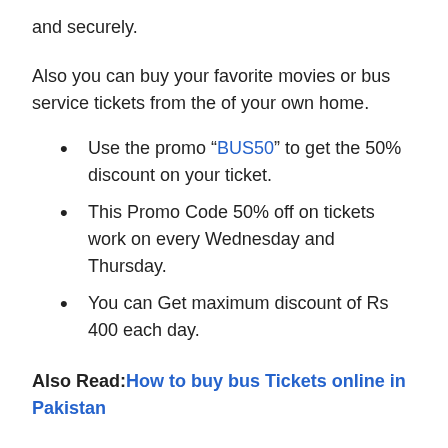and securely.
Also you can buy your favorite movies or bus service tickets from the of your own home.
Use the promo “BUS50” to get the 50% discount on your ticket.
This Promo Code 50% off on tickets work on every Wednesday and Thursday.
You can Get maximum discount of Rs 400 each day.
Also Read: How to buy bus Tickets online in Pakistan
You Can Enjoy amazing upto 50% discounts at